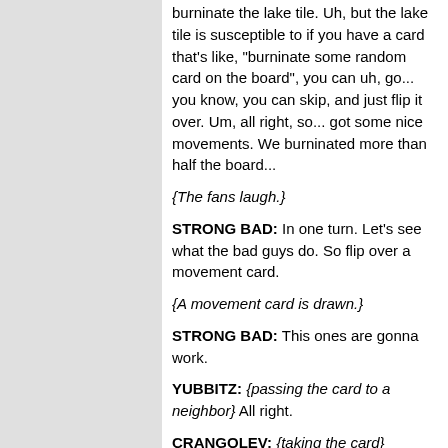burninate the lake tile. Uh, but the lake tile is susceptible to if you have a card that's like, "burninate some random card on the board", you can uh, go... you know, you can skip, and just flip it over. Um, all right, so... got some nice movements. We burninated more than half the board...
{The fans laugh.}
STRONG BAD: In one turn. Let's see what the bad guys do. So flip over a movement card.
{A movement card is drawn.}
STRONG BAD: This ones are gonna work.
YUBBITZ: {passing the card to a neighbor} All right.
CRANGOLEV: {taking the card} Movement card. Uh...
STRONG BAD: How many peasants does it show?